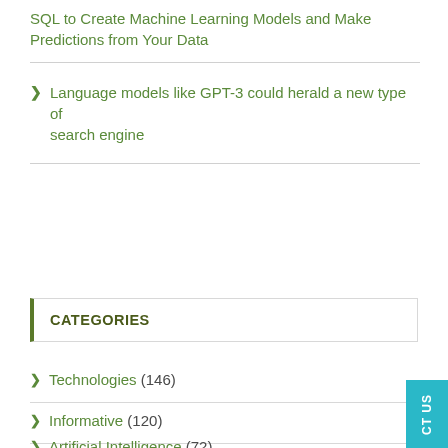SQL to Create Machine Learning Models and Make Predictions from Your Data
Language models like GPT-3 could herald a new type of search engine
CATEGORIES
Technologies (146)
Informative (120)
Artificial Intelligence (72)